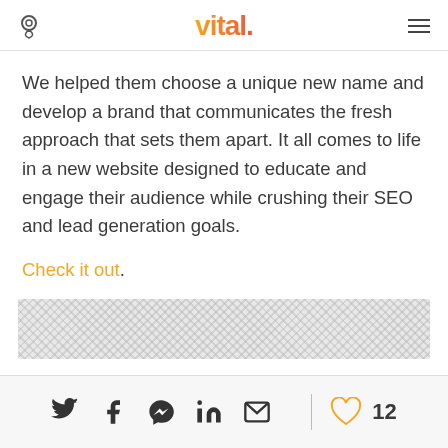vital.
We helped them choose a unique new name and develop a brand that communicates the fresh approach that sets them apart. It all comes to life in a new website designed to educate and engage their audience while crushing their SEO and lead generation goals.
Check it out.
[Figure (other): Decorative wavy/chevron pattern box in light gray]
Social share icons: Twitter, Facebook, Messenger, LinkedIn, Email | 12 likes